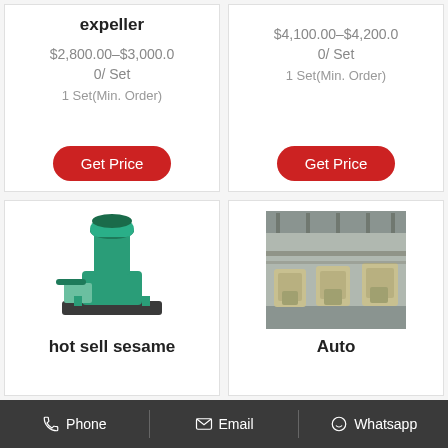expeller
$2,800.00-$3,000.00/ Set
1 Set(Min. Order)
Get Price
$4,100.00-$4,200.00/ Set
1 Set(Min. Order)
Get Price
[Figure (photo): Green oil expeller / press machine on white background]
hot sell sesame
[Figure (photo): Industrial oil processing machines in a factory floor, multiple units lined up]
Auto
Phone   Email   Whatsapp